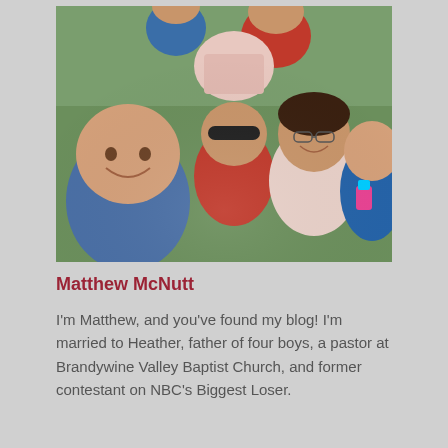[Figure (photo): Family selfie photo showing Matthew McNutt with his wife Heather and four boys outdoors, people wearing red, blue and white shirts, some wearing sunglasses, smiling at camera]
Matthew McNutt
I'm Matthew, and you've found my blog! I'm married to Heather, father of four boys, a pastor at Brandywine Valley Baptist Church, and former contestant on NBC's Biggest Loser.